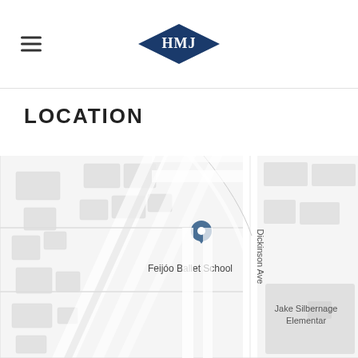HMJ logo and navigation header
LOCATION
[Figure (map): Street map showing location of Feijóo Ballet School near Dickinson Ave, with Jake Silbernage Elementary visible to the right. A blue map pin marks the ballet school location.]